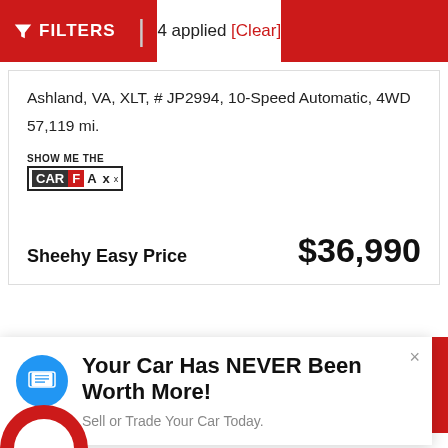FILTERS | 4 applied [Clear]
Ashland, VA, XLT, # JP2994, 10-Speed Automatic, 4WD
57,119 mi.
[Figure (logo): SHOW ME THE CARFAX logo]
Sheehy Easy Price   $36,990
Your Car Has NEVER Been Worth More!
Sell or Trade Your Car Today.
This site uses cookies.